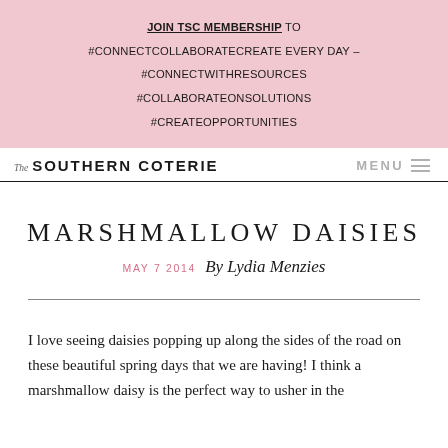JOIN TSC MEMBERSHIP TO #CONNECTCOLLABORATECREATE EVERY DAY – #CONNECTWITHRESOURCES #COLLABORATEONSOLUTIONS #CREATEOPPORTUNITIES
The SOUTHERN COTERIE   MENU
MARSHMALLOW DAISIES
MAY 7 2014   By Lydia Menzies
I love seeing daisies popping up along the sides of the road on these beautiful spring days that we are having! I think a marshmallow daisy is the perfect way to usher in the